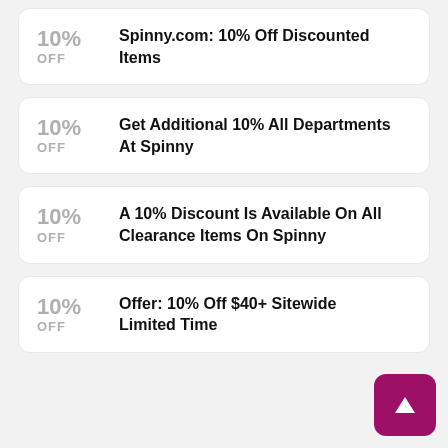10% OFF – Spinny.com: 10% Off Discounted Items
10% OFF – Get Additional 10% All Departments At Spinny
10% OFF – A 10% Discount Is Available On All Clearance Items On Spinny
10% OFF – Offer: 10% Off $40+ Sitewide Limited Time